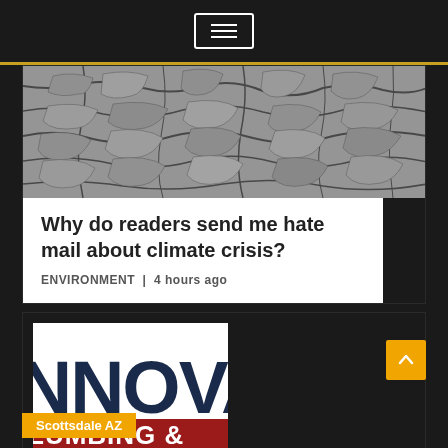Menu navigation bar with hamburger icon
[Figure (photo): Black and white photo of severely cracked, dry earth (drought conditions)]
Why do readers send me hate mail about climate crisis?
ENVIRONMENT | 4 hours ago
[Figure (logo): Partial logo showing 'NNOVA' in dark navy text and 'LUMBING &' on a red banner background — cropped advertisement for a plumbing company]
Scottsdale AZ